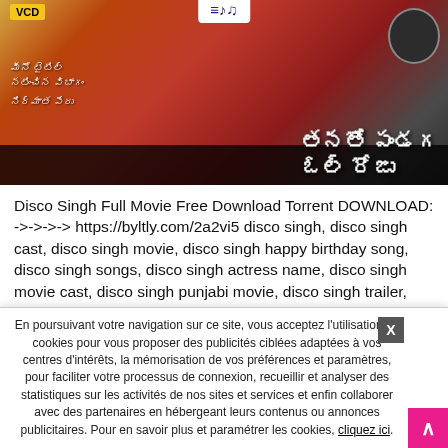[Figure (photo): Movie cover image for a Telugu VCD featuring a woman in red outfit with Telugu script text and a black banner at the bottom. VCD badge in top left, music logo at top center.]
Disco Singh Full Movie Free Download Torrent DOWNLOAD: ->->->-> https://byltly.com/2a2vi5 disco singh, disco singh cast, disco singh movie, disco singh happy birthday song, disco singh songs, disco singh actress name, disco singh movie cast, disco singh punjabi movie, disco singh trailer, disco singh star cast 0b01ecef03 https://www.pixnet.net/pcard/761746052d54cdf87b/article/c470 5290-11ec-aa41-
En poursuivant votre navigation sur ce site, vous acceptez l'utilisation de cookies pour vous proposer des publicités ciblées adaptées à vos centres d'intérêts, la mémorisation de vos préférences et paramètres, pour faciliter votre processus de connexion, recueillir et analyser des statistiques sur les activités de nos sites et services et enfin collaborer avec des partenaires en hébergeant leurs contenus ou annonces publicitaires. Pour en savoir plus et paramétrer les cookies, cliquez ici.